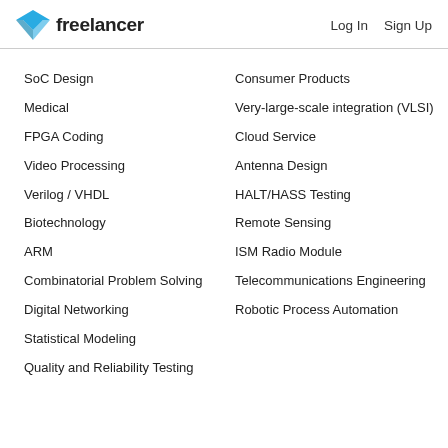freelancer  Log In  Sign Up
SoC Design
Medical
FPGA Coding
Video Processing
Verilog / VHDL
Biotechnology
ARM
Combinatorial Problem Solving
Digital Networking
Statistical Modeling
Quality and Reliability Testing
Consumer Products
Very-large-scale integration (VLSI)
Cloud Service
Antenna Design
HALT/HASS Testing
Remote Sensing
ISM Radio Module
Telecommunications Engineering
Robotic Process Automation